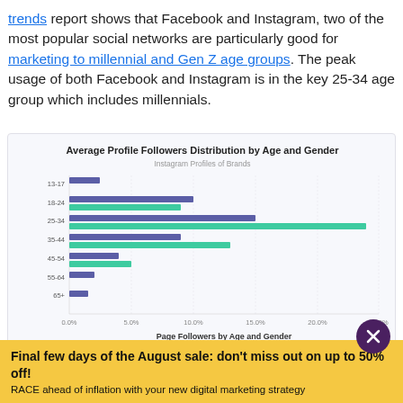trends report shows that Facebook and Instagram, two of the most popular social networks are particularly good for marketing to millennial and Gen Z age groups. The peak usage of both Facebook and Instagram is in the key 25-34 age group which includes millennials.
[Figure (grouped-bar-chart): Average Profile Followers Distribution by Age and Gender]
Average Page Fans Distribution by Age and Gender
Final few days of the August sale: don't miss out on up to 50% off!
RACE ahead of inflation with your new digital marketing strategy